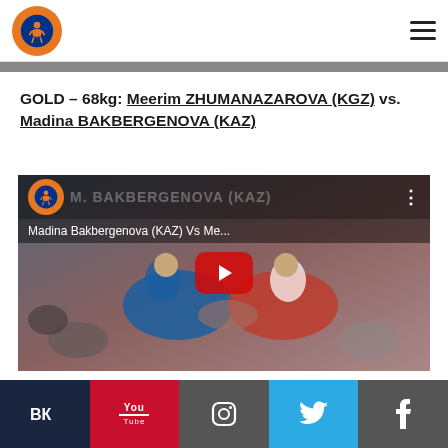United World Wrestling logo and navigation
GOLD – 68kg: Meerim ZHUMANAZAROVA (KGZ) vs. Madina BAKBERGENOVA (KAZ)
[Figure (screenshot): YouTube video thumbnail showing Madina Bakbergenova (KAZ) vs Meerim (wrestling match), with two female wrestlers grappling, video title 'Madina Bakbergenova (KAZ) Vs Me...' and a red play button overlay]
VK | YouTube | Instagram | Twitter | Facebook social media links